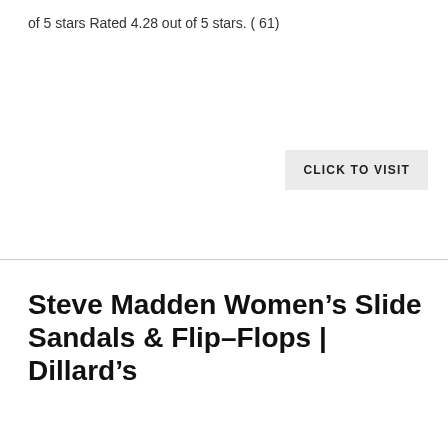of 5 stars Rated 4.28 out of 5 stars. ( 61)
CLICK TO VISIT
Steve Madden Women’s Slide Sandals & Flip–Flops | Dillard’s
Steve Madden Cool Planet by Steve Madden Cloudd Platform Slide Sandals. $49.00. Extended Sizes. Rated 3.0 out of 5 stars Rated 3.0 out of 5 stars Rated 3.0 out of 5 stars Rated 3.0 out of 5 stars Rated 3.0 out of 5 stars (1) Steve Madden Sealed …
CLICK TO VISIT